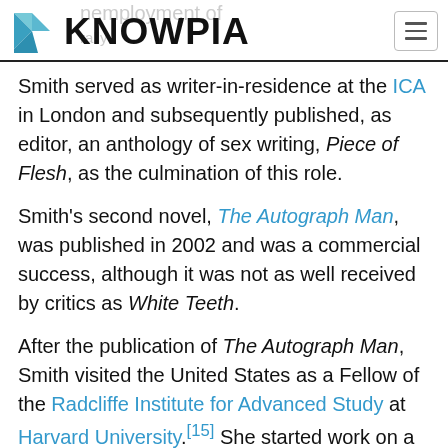KNOWPIA
Smith served as writer-in-residence at the ICA in London and subsequently published, as editor, an anthology of sex writing, Piece of Flesh, as the culmination of this role.
Smith's second novel, The Autograph Man, was published in 2002 and was a commercial success, although it was not as well received by critics as White Teeth.
After the publication of The Autograph Man, Smith visited the United States as a Fellow of the Radcliffe Institute for Advanced Study at Harvard University.[15] She started work on a still-unreleased book of es..., The Morality of the Novel (a.k.a. Fail Better), in which she considers a selection of 20th-century writers...